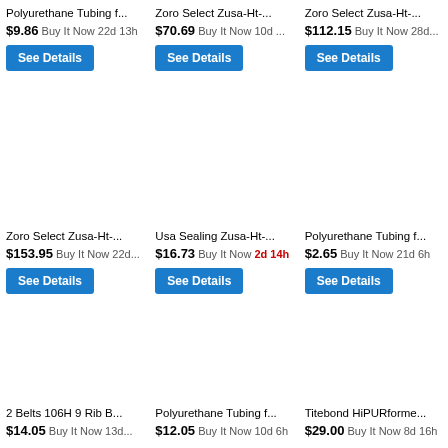Polyurethane Tubing f... $9.86 Buy It Now 22d 13h
Zoro Select Zusa-Ht-... $70.69 Buy It Now 10d ...
Zoro Select Zusa-Ht-... $112.15 Buy It Now 28d...
Zoro Select Zusa-Ht-... $153.95 Buy It Now 22d...
Usa Sealing Zusa-Ht-... $16.73 Buy It Now 2d 14h
Polyurethane Tubing f... $2.65 Buy It Now 21d 6h
2 Belts 106H 9 Rib B... $14.05 Buy It Now 13d...
Polyurethane Tubing f... $12.05 Buy It Now 10d 6h
Titebond HiPURforme... $29.00 Buy It Now 8d 16h